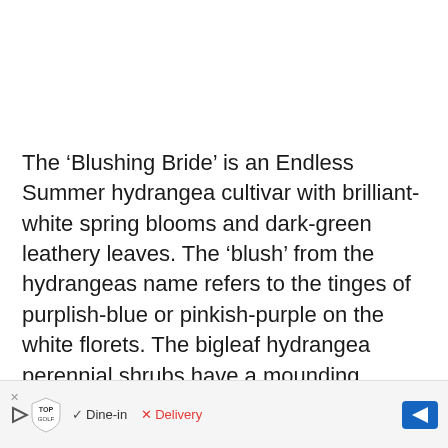The ‘Blushing Bride’ is an Endless Summer hydrangea cultivar with brilliant-white spring blooms and dark-green leathery leaves. The ‘blush’ from the hydrangeas name refers to the tinges of purplish-blue or pinkish-purple on the white florets. The bigleaf hydrangea perennial shrubs have a mounding growth habit and thrive in most soils and locations.
Grow the ‘Blushing Bride’ hydrangea ... as an informal ... liner
[Figure (other): Advertisement banner showing Topgolf logo with shield icon, Dine-in checkmark option, Delivery with X option, and a blue navigation arrow icon]